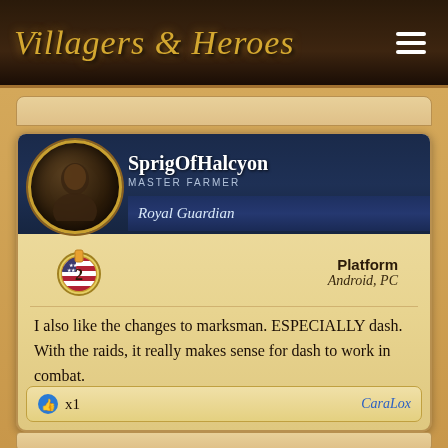Villagers & Heroes
SprigOfHalcyon
MASTER FARMER
Royal Guardian
Platform
Android, PC
I also like the changes to marksman. ESPECIALLY dash. With the raids, it really makes sense for dash to work in combat.
x1  CaraLox